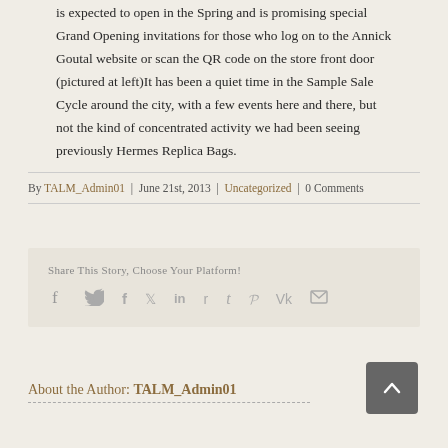is expected to open in the Spring and is promising special Grand Opening invitations for those who log on to the Annick Goutal website or scan the QR code on the store front door (pictured at left)It has been a quiet time in the Sample Sale Cycle around the city, with a few events here and there, but not the kind of concentrated activity we had been seeing previously Hermes Replica Bags.
By TALM_Admin01 | June 21st, 2013 | Uncategorized | 0 Comments
Share This Story, Choose Your Platform!
[Figure (infographic): Social share icons: Facebook, Twitter, LinkedIn, Reddit, Tumblr, Pinterest, VK, Email]
About the Author: TALM_Admin01